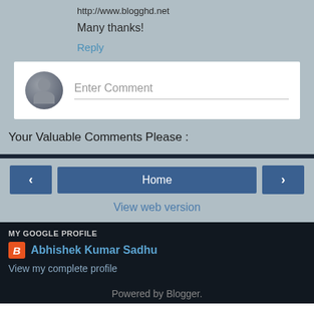http://www.blogghd.net
Many thanks!
Reply
[Figure (screenshot): Comment input box with avatar placeholder and 'Enter Comment' placeholder text]
Your Valuable Comments Please :
< Home >
View web version
MY GOOGLE PROFILE
Abhishek Kumar Sadhu
View my complete profile
Powered by Blogger.